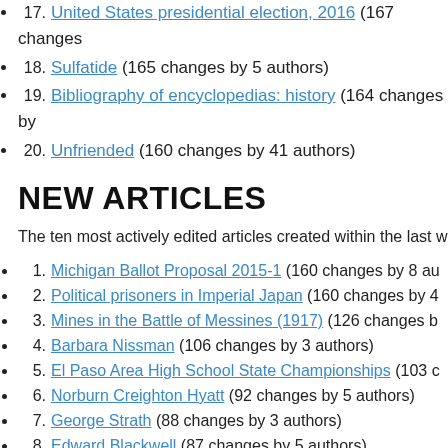17. United States presidential election, 2016 (167 changes by ... authors)
18. Sulfatide (165 changes by 5 authors)
19. Bibliography of encyclopedias: history (164 changes by ... authors)
20. Unfriended (160 changes by 41 authors)
NEW ARTICLES
The ten most actively edited articles created within the last w...
1. Michigan Ballot Proposal 2015-1 (160 changes by 8 au...)
2. Political prisoners in Imperial Japan (160 changes by 4...)
3. Mines in the Battle of Messines (1917) (126 changes b...)
4. Barbara Nissman (106 changes by 3 authors)
5. El Paso Area High School State Championships (103 c...)
6. Norburn Creighton Hyatt (92 changes by 5 authors)
7. George Strath (88 changes by 3 authors)
8. Edward Blackwell (87 changes by 5 authors)
9. Conrad Meit (83 changes by 4 authors)
10. Gender and emotional expression (75 changes by 9 au...)